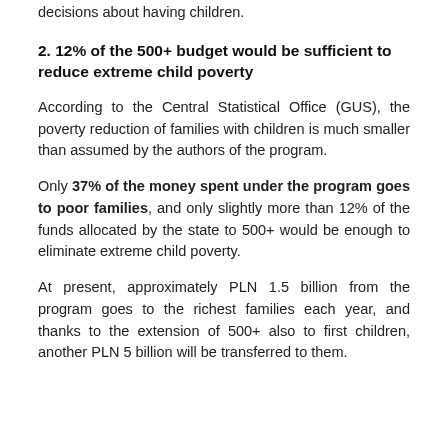decisions about having children.
2. 12% of the 500+ budget would be sufficient to reduce extreme child poverty
According to the Central Statistical Office (GUS), the poverty reduction of families with children is much smaller than assumed by the authors of the program.
Only 37% of the money spent under the program goes to poor families, and only slightly more than 12% of the funds allocated by the state to 500+ would be enough to eliminate extreme child poverty.
At present, approximately PLN 1.5 billion from the program goes to the richest families each year, and thanks to the extension of 500+ also to first children, another PLN 5 billion will be transferred to them.